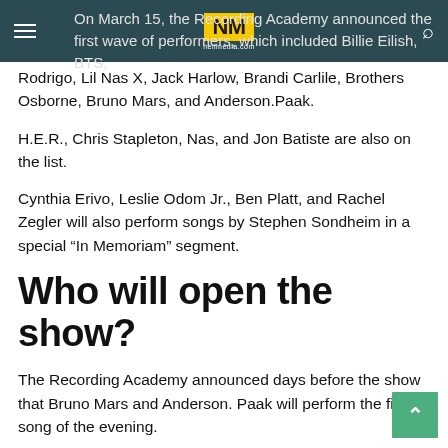NM neilmedia.com
On March 15, the Recording Academy announced the first wave of performers, which included Billie Eilish, BTS, Rodrigo, Lil Nas X, Jack Harlow, Brandi Carlile, Brothers Osborne, Bruno Mars, and Anderson.Paak.
H.E.R., Chris Stapleton, Nas, and Jon Batiste are also on the list.
Cynthia Erivo, Leslie Odom Jr., Ben Platt, and Rachel Zegler will also perform songs by Stephen Sondheim in a special “In Memoriam” segment.
Who will open the show?
The Recording Academy announced days before the show that Bruno Mars and Anderson. Paak will perform the first song of the evening.